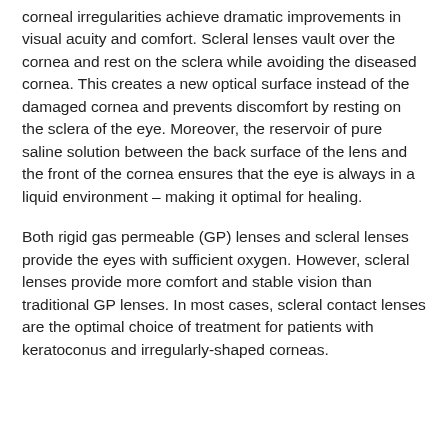corneal irregularities achieve dramatic improvements in visual acuity and comfort. Scleral lenses vault over the cornea and rest on the sclera while avoiding the diseased cornea. This creates a new optical surface instead of the damaged cornea and prevents discomfort by resting on the sclera of the eye. Moreover, the reservoir of pure saline solution between the back surface of the lens and the front of the cornea ensures that the eye is always in a liquid environment – making it optimal for healing.
Both rigid gas permeable (GP) lenses and scleral lenses provide the eyes with sufficient oxygen. However, scleral lenses provide more comfort and stable vision than traditional GP lenses. In most cases, scleral contact lenses are the optimal choice of treatment for patients with keratoconus and irregularly-shaped corneas.